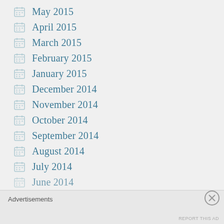May 2015
April 2015
March 2015
February 2015
January 2015
December 2014
November 2014
October 2014
September 2014
August 2014
July 2014
June 2014
Advertisements
REPORT THIS AD